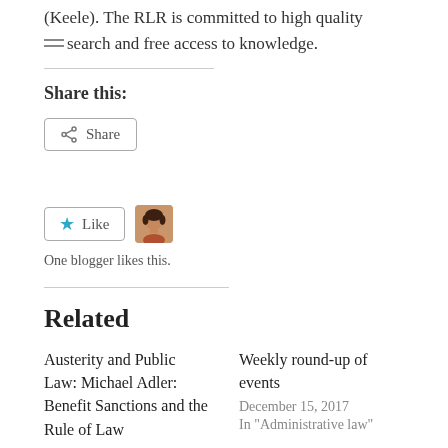(Keele). The RLR is committed to high quality research and free access to knowledge.
Share this:
Share
[Figure (other): Like button with a star icon and a blogger avatar]
One blogger likes this.
Related
Austerity and Public Law: Michael Adler: Benefit Sanctions and the Rule of Law
Weekly round-up of events
December 15, 2017
In "Administrative law"